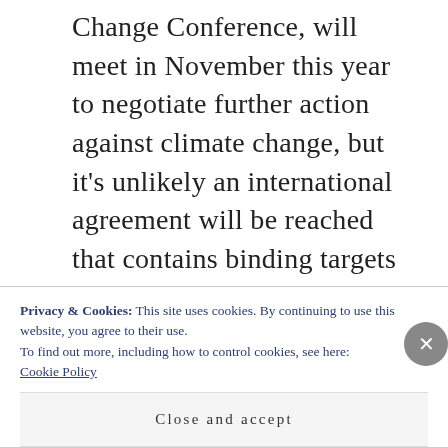Change Conference, will meet in November this year to negotiate further action against climate change, but it's unlikely an international agreement will be reached that contains binding targets for all nations to reduce their carbon emissions. This is simply because the problem is a tragedy of the commons. Should any one country agree to a greater reduction in their emissions, there is less incentive for every other country to reduce theirs. Given all of this, can we be
Privacy & Cookies: This site uses cookies. By continuing to use this website, you agree to their use.
To find out more, including how to control cookies, see here: Cookie Policy
Close and accept